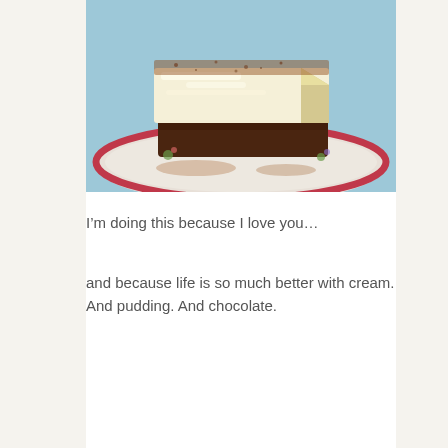[Figure (photo): A slice of tiramisu dessert on a floral-patterned plate with a red rim, dusted with cocoa powder on top, showing layers of cream and chocolate, on a light blue background.]
I’m doing this because I love you…
and because life is so much better with cream. And pudding. And chocolate.